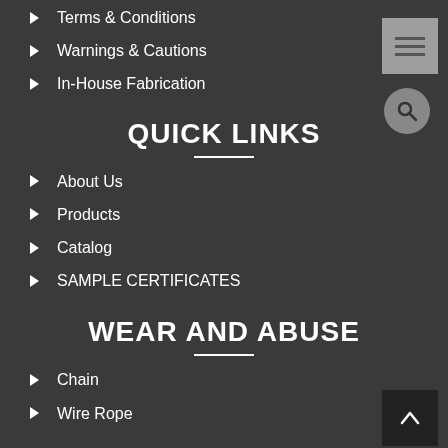Terms & Conditions
Warnings & Cautions
In-House Fabrication
QUICK LINKS
About Us
Products
Catalog
SAMPLE CERTIFICATES
WEAR AND ABUSE
Chain
Wire Rope